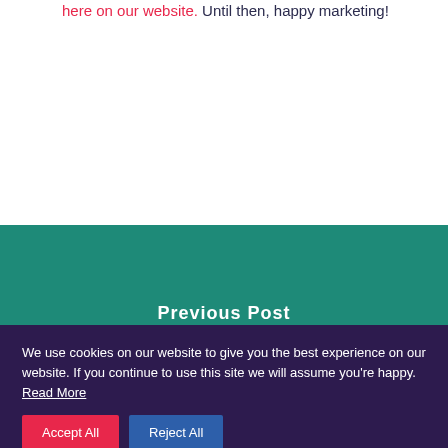here on our website. Until then, happy marketing!
[Figure (illustration): Teal green banner section with a dark navy circular thumbs-down icon on the right side]
Previous Post
We use cookies on our website to give you the best experience on our website. If you continue to use this site we will assume you're happy. Read More
Accept All   Reject All